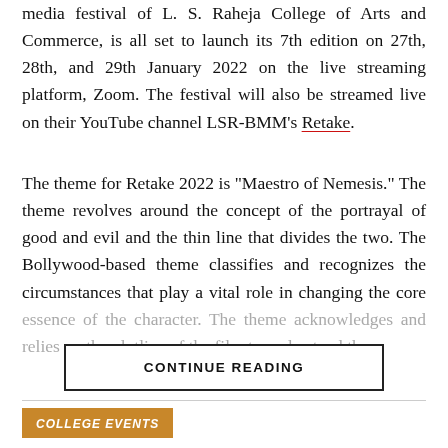media festival of L. S. Raheja College of Arts and Commerce, is all set to launch its 7th edition on 27th, 28th, and 29th January 2022 on the live streaming platform, Zoom. The festival will also be streamed live on their YouTube channel LSR-BMM's Retake.
The theme for Retake 2022 is “Maestro of Nemesis.” The theme revolves around the concept of the portrayal of good and evil and the thin line that divides the two. The Bollywood-based theme classifies and recognizes the circumstances that play a vital role in changing the core essence of the character. The theme acknowledges and relies on the plotline of the film to understand the
CONTINUE READING
COLLEGE EVENTS